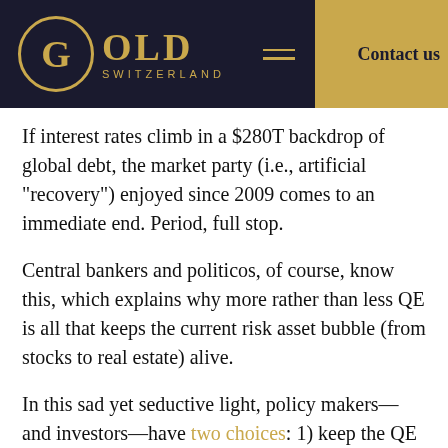GOLD SWITZERLAND | Contact us
If interest rates climb in a $280T backdrop of global debt, the market party (i.e., artificial “recovery”) enjoyed since 2009 comes to an immediate end. Period, full stop.
Central bankers and politicos, of course, know this, which explains why more rather than less QE is all that keeps the current risk asset bubble (from stocks to real estate) alive.
In this sad yet seductive light, policy makers—and investors—have two choices: 1) keep the QE going and send inflation to the moon, or 2) taper and send the global markets to the basement of